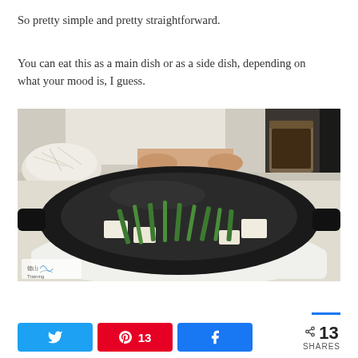So pretty simple and pretty straightforward.
You can eat this as a main dish or as a side dish, depending on what your mood is, I guess.
[Figure (photo): A black round clay/electric cooker with tofu cubes and green vegetables (chives/scallions) inside, placed on a white appliance base. A person's hands are visible in the background near a jar of dark liquid and a white bowl of bean sprouts. The image has a watermark in the bottom left corner with Chinese characters and 'Training'.]
13 SHARES
Twitter share button, Pinterest share button with count 13, Facebook share button, share icon with 13 SHARES